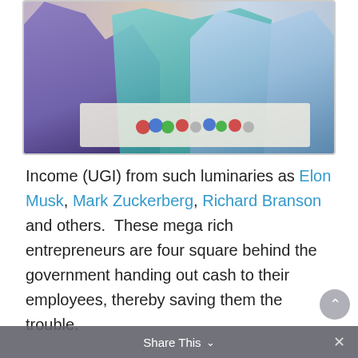[Figure (photo): Photo of people sitting around a table playing poker or a board game with chips, partially cropped at the top.]
Income (UGI) from such luminaries as Elon Musk, Mark Zuckerberg, Richard Branson and others.  These mega rich entrepreneurs are four square behind the government handing out cash to their employees, thereby saving them the trouble.
After an extensive, painstaking study and review conducted yesterday afternoon, The Boys in the Lotto Lab have expressed their unconditional support as well.
Share This  ∨  ×